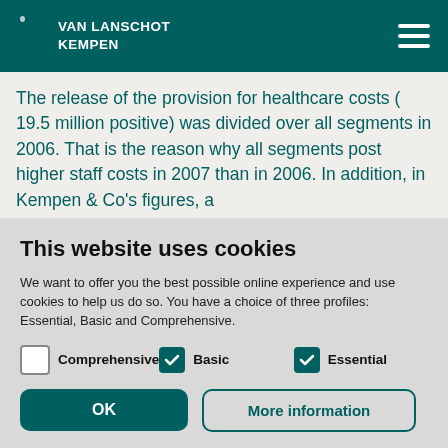VAN LANSCHOT KEMPEN
The release of the provision for healthcare costs ( 19.5 million positive) was divided over all segments in 2006. That is the reason why all segments post higher staff costs in 2007 than in 2006. In addition, in Kempen & Co's figures, a
This website uses cookies
We want to offer you the best possible online experience and use cookies to help us do so. You have a choice of three profiles: Essential, Basic and Comprehensive.
Comprehensive (unchecked), Basic (checked), Essential (checked)
OK | More information